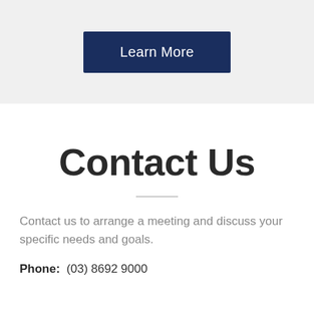[Figure (other): Dark navy blue button labeled 'Learn More' on a light gray background]
Contact Us
Contact us to arrange a meeting and discuss your specific needs and goals.
Phone:  (03) 8692 9000